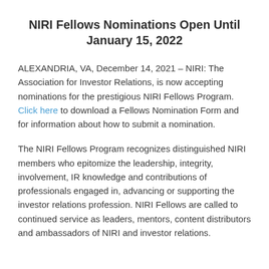NIRI Fellows Nominations Open Until January 15, 2022
ALEXANDRIA, VA, December 14, 2021 – NIRI: The Association for Investor Relations, is now accepting nominations for the prestigious NIRI Fellows Program. Click here to download a Fellows Nomination Form and for information about how to submit a nomination.
The NIRI Fellows Program recognizes distinguished NIRI members who epitomize the leadership, integrity, involvement, IR knowledge and contributions of professionals engaged in, advancing or supporting the investor relations profession. NIRI Fellows are called to continued service as leaders, mentors, content distributors and ambassadors of NIRI and investor relations.